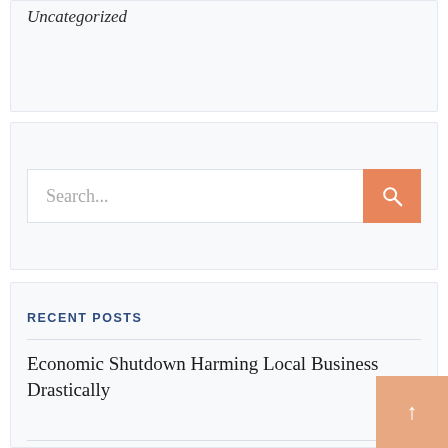Uncategorized
[Figure (other): Search bar with orange search button and magnifying glass icon]
RECENT POSTS
Economic Shutdown Harming Local Business Drastically
Two ABP Food Group Plant Workers Test